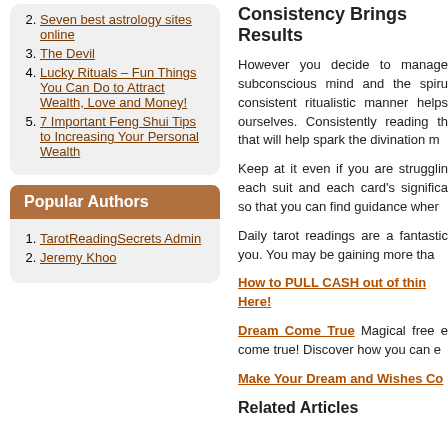2. Seven best astrology sites online
3. The Devil
4. Lucky Rituals – Fun Things You Can Do to Attract Wealth, Love and Money!
5. 7 Important Feng Shui Tips to Increasing Your Personal Wealth
Popular Authors
1. TarotReadingSecrets Admin
2. Jeremy Khoo
Consistency Brings Results
However you decide to manage subconscious mind and the spiri consistent ritualistic manner helps ourselves. Consistently reading th that will help spark the divination m
Keep at it even if you are strugglin each suit and each card's significa so that you can find guidance wher
Daily tarot readings are a fantastic you. You may be gaining more tha
How to PULL CASH out of thin Here!
Dream Come True Magical free e come true! Discover how you can e
Make Your Dream and Wishes Co
Related Articles